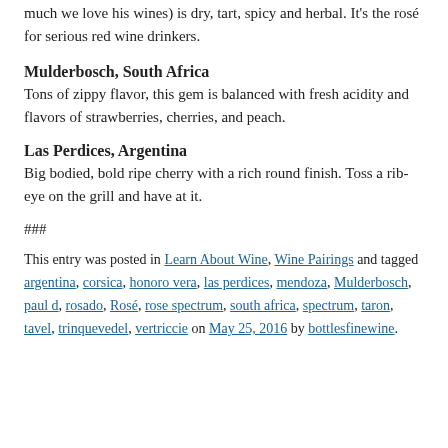much we love his wines) is dry, tart, spicy and herbal. It's the rosé for serious red wine drinkers.
Mulderbosch, South Africa
Tons of zippy flavor, this gem is balanced with fresh acidity and flavors of strawberries, cherries, and peach.
Las Perdices, Argentina
Big bodied, bold ripe cherry with a rich round finish. Toss a rib-eye on the grill and have at it.
###
This entry was posted in Learn About Wine, Wine Pairings and tagged argentina, corsica, honoro vera, las perdices, mendoza, Mulderbosch, paul d, rosado, Rosé, rose spectrum, south africa, spectrum, taron, tavel, trinquevedel, vertriccie on May 25, 2016 by bottlesfinewine.